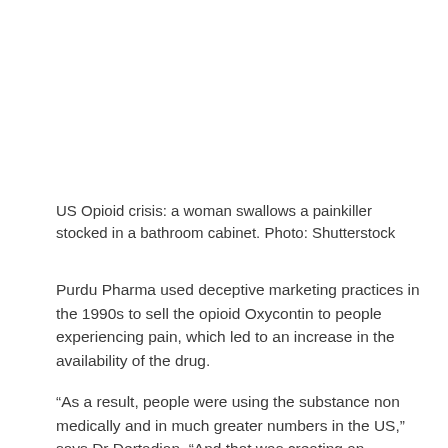US Opioid crisis: a woman swallows a painkiller stocked in a bathroom cabinet. Photo: Shutterstock
Purdu Pharma used deceptive marketing practices in the 1990s to sell the opioid Oxycontin to people experiencing pain, which led to an increase in the availability of the drug.
“As a result, people were using the substance non medically and in much greater numbers in the US,” says Dr Dertadian. “And that was creating an